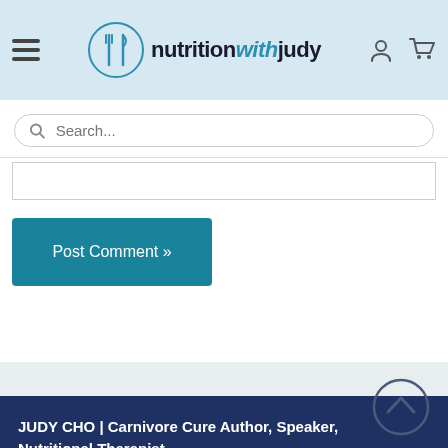nutritionwithjudy
Search...
Post Comment »
JUDY CHO | Carnivore Cure Author, Speaker, Nutritional Therapist